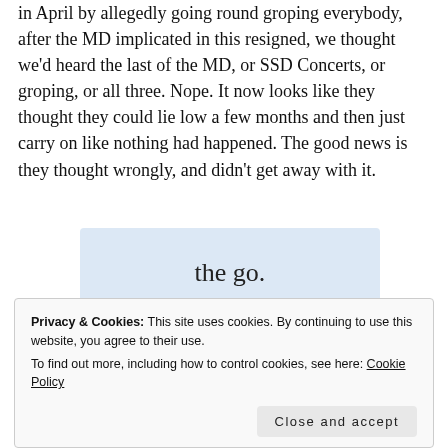in April by allegedly going round groping everybody, after the MD implicated in this resigned, we thought we'd heard the last of the MD, or SSD Concerts, or groping, or all three. Nope. It now looks like they thought they could lie low a few months and then just carry on like nothing had happened. The good news is they thought wrongly, and didn't get away with it.
[Figure (other): Advertisement banner with light blue background showing 'the go.' text and 'GET THE APP' label with WordPress logo icon]
Privacy & Cookies: This site uses cookies. By continuing to use this website, you agree to their use.
To find out more, including how to control cookies, see here: Cookie Policy